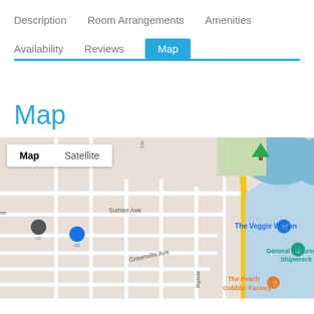Description   Room Arrangements   Amenities   Availability   Reviews   Map
Map
[Figure (map): Google Map showing coastal area with Lake Park, Sumter Ave, Greenville Ave, Riptide, The Veggie Wagon, General Beauregard Shipwreck, The Peach Cobbler Factory landmarks. Map/Satellite toggle visible.]